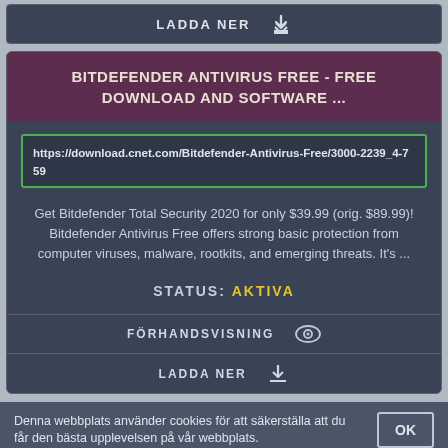LADDA NER
BITDEFENDER ANTIVIRUS FREE - FREE DOWNLOAD AND SOFTWARE ...
https://download.cnet.com/Bitdefender-Antivirus-Free/3000-2239_4-759
Get Bitdefender Total Security 2020 for only $39.99 (orig. $89.99)! Bitdefender Antivirus Free offers strong basic protection from computer viruses, malware, rootkits, and emerging threats. It's ...
STATUS: AKTIVA
FÖRHANDSVISNING
LADDA NER
Denna webbplats använder cookies för att säkerställa att du får den bästa upplevelsen på vår webbplats.